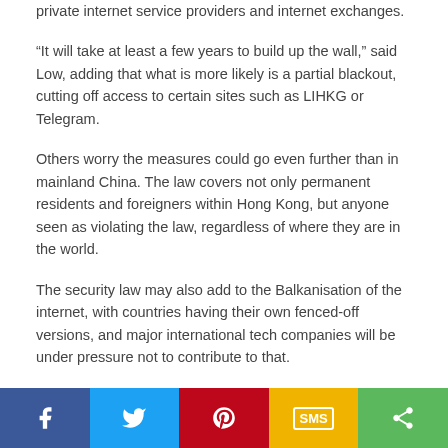private internet service providers and internet exchanges.
“It will take at least a few years to build up the wall,” said Low, adding that what is more likely is a partial blackout, cutting off access to certain sites such as LIHKG or Telegram.
Others worry the measures could go even further than in mainland China. The law covers not only permanent residents and foreigners within Hong Kong, but anyone seen as violating the law, regardless of where they are in the world.
The security law may also add to the Balkanisation of the internet, with countries having their own fenced-off versions, and major international tech companies will be under pressure not to contribute to that.
[Figure (infographic): Social sharing bar with five buttons: Facebook (blue), Twitter (light blue), Pinterest (red), SMS (yellow), Share/more (green)]